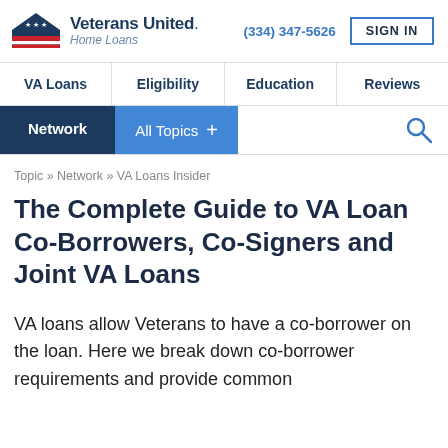[Figure (logo): Veterans United Home Loans logo with house icon and American flag stripes]
(334) 347-5626  SIGN IN
VA Loans  Eligibility  Education  Reviews
Network  All Topics +
Topic » Network » VA Loans Insider
The Complete Guide to VA Loan Co-Borrowers, Co-Signers and Joint VA Loans
VA loans allow Veterans to have a co-borrower on the loan. Here we break down co-borrower requirements and provide common